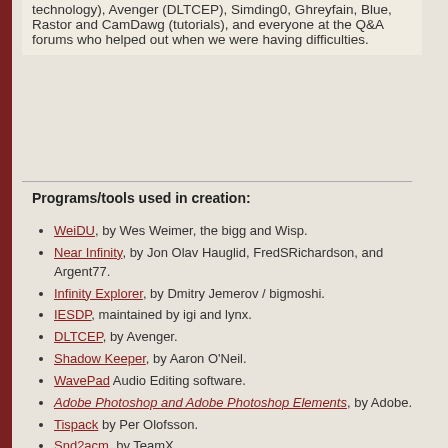technology), Avenger (DLTCEP), Simding0, Ghreyfain, Blue, Rastor and CamDawg (tutorials), and everyone at the Q&A forums who helped out when we were having difficulties.
Programs/tools used in creation:
WeiDU, by Wes Weimer, the bigg and Wisp.
Near Infinity, by Jon Olav Hauglid, FredSRichardson, and Argent77.
Infinity Explorer, by Dmitry Jemerov / bigmoshi.
IESDP, maintained by igi and lynx.
DLTCEP, by Avenger.
Shadow Keeper, by Aaron O'Neil.
WavePad Audio Editing software.
Adobe Photoshop and Adobe Photoshop Elements, by Adobe.
Tispack by Per Olofsson.
Snd2acm, by TeamX.
OggVorbis audio encoder.
winLAME audio encoder.
Notepad++, by the Notepad++ team, Don Ho, and the spellcheck plug-in.